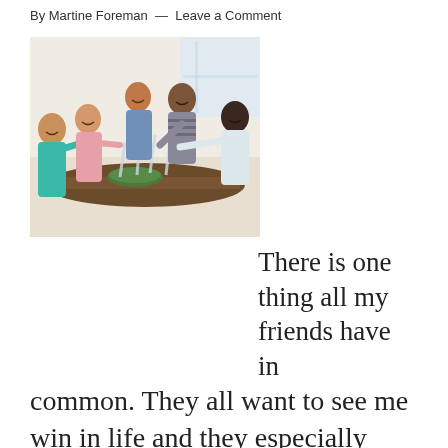By Martine Foreman — Leave a Comment
[Figure (photo): Group of friends clinking wine glasses together at a dining table with food, smiling and celebrating.]
There is one thing all my friends have in common. They all want to see me win in life and they especially want to see me win in my marriage. They are rooting for my family.  And they want this thing I have to last for a lifetime. Their desire to see my marriage last has nothing to do with how